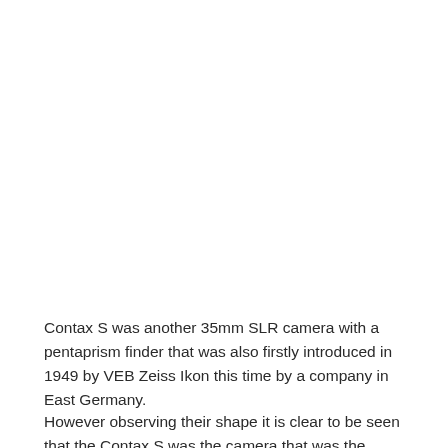Contax S was another 35mm SLR camera with a pentaprism finder that was also firstly introduced in 1949 by VEB Zeiss Ikon this time by a company in East Germany.
However observing their shape it is clear to be seen that the Contax S was the camera that was the stantord in